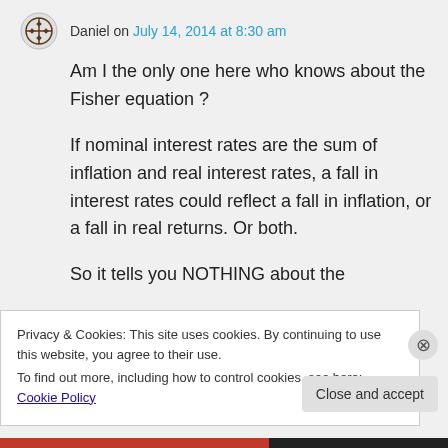Daniel on July 14, 2014 at 8:30 am
Am I the only one here who knows about the Fisher equation ?
If nominal interest rates are the sum of inflation and real interest rates, a fall in interest rates could reflect a fall in inflation, or a fall in real returns. Or both.
So it tells you NOTHING about the
Privacy & Cookies: This site uses cookies. By continuing to use this website, you agree to their use.
To find out more, including how to control cookies, see here: Cookie Policy